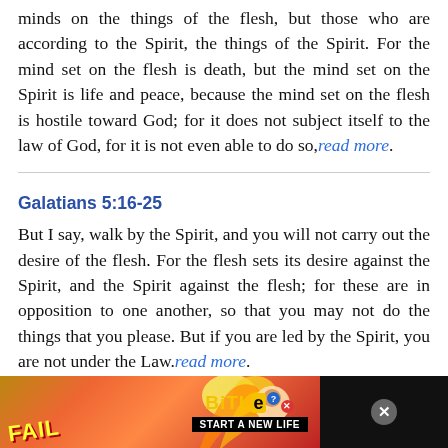minds on the things of the flesh, but those who are according to the Spirit, the things of the Spirit. For the mind set on the flesh is death, but the mind set on the Spirit is life and peace, because the mind set on the flesh is hostile toward God; for it does not subject itself to the law of God, for it is not even able to do so, read more.
Galatians 5:16-25
But I say, walk by the Spirit, and you will not carry out the desire of the flesh. For the flesh sets its desire against the Spirit, and the Spirit against the flesh; for these are in opposition to one another, so that you may not do the things that you please. But if you are led by the Spirit, you are not under the Law. read more.
Galatians 6:8
For the one who sows to his own flesh will from the flesh reap corruption, but the one who sows to the Spirit will from the Spirit reap eternal life.
[Figure (screenshot): Advertisement banner for BitLife game showing FAIL text, cartoon character, flames, BitLife logo, and START A NEW LIFE tagline]